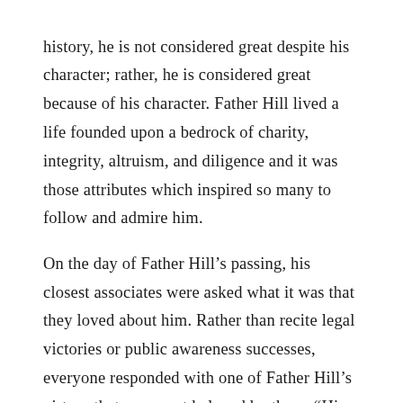history, he is not considered great despite his character; rather, he is considered great because of his character. Father Hill lived a life founded upon a bedrock of charity, integrity, altruism, and diligence and it was those attributes which inspired so many to follow and admire him.

On the day of Father Hill’s passing, his closest associates were asked what it was that they loved about him. Rather than recite legal victories or public awareness successes, everyone responded with one of Father Hill’s virtues that was most beloved by them. “His gentleness,” “his holiness and piety,” “the warm twinkle in his eyes,” “his thoughtfulness and complete